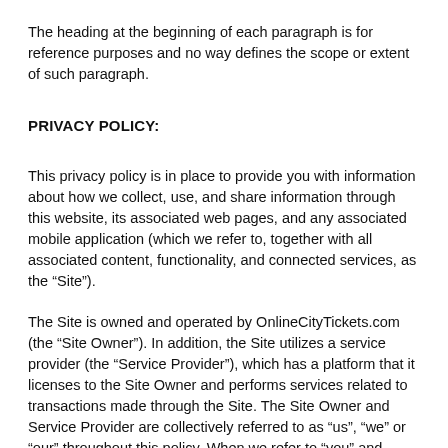The heading at the beginning of each paragraph is for reference purposes and no way defines the scope or extent of such paragraph.
PRIVACY POLICY:
This privacy policy is in place to provide you with information about how we collect, use, and share information through this website, its associated web pages, and any associated mobile application (which we refer to, together with all associated content, functionality, and connected services, as the “Site”).
The Site is owned and operated by OnlineCityTickets.com (the “Site Owner”). In addition, the Site utilizes a service provider (the “Service Provider”), which has a platform that it licenses to the Site Owner and performs services related to transactions made through the Site. The Site Owner and Service Provider are collectively referred to as “us”, “we” or “our” throughout this policy. When we refer to “you” and “your” in this policy, we are referring to you as a visitor to